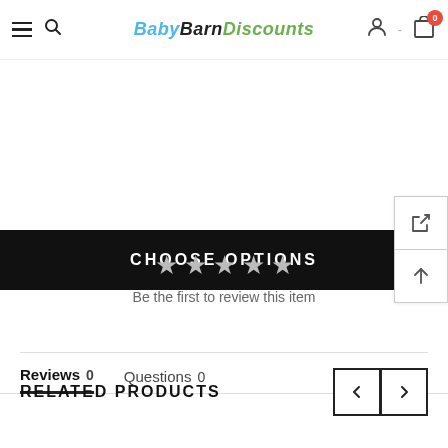[Figure (screenshot): Website header with hamburger menu, search icon, Baby Barn Discounts logo, user icon, and cart icon with badge showing 0]
CHOOSE OPTIONS
Reviews 0   Questions 0
[Figure (other): Five empty grey star rating icons]
Be the first to review this item
RELATED PRODUCTS